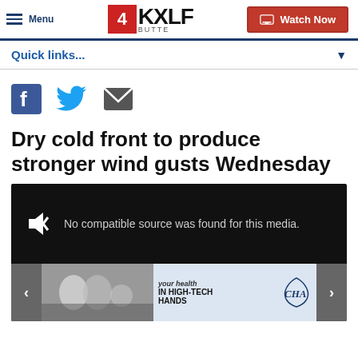[Figure (logo): 4 KXLF Butte TV station logo with red number box and Watch Now button]
Quick links...
[Figure (infographic): Social share icons: Facebook (blue f), Twitter (blue bird), Email (grey envelope)]
Dry cold front to produce stronger wind gusts Wednesday
[Figure (screenshot): Video player showing: No compatible source was found for this media. With ad banner below showing your health IN HIGH-TECH HANDS with CHA logo]